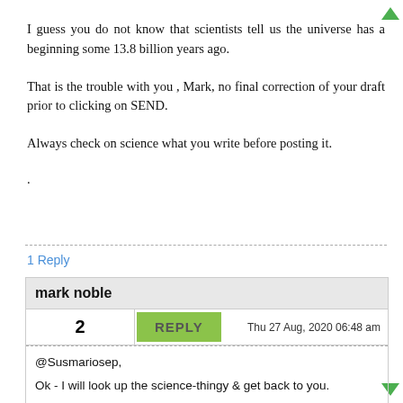I guess you do not know that scientists tell us the universe has a beginning some 13.8 billion years ago.
That is the trouble with you , Mark, no final correction of your draft prior to clicking on SEND.
Always check on science what you write before posting it.
.
1 Reply
mark noble
2   REPLY   Thu 27 Aug, 2020 06:48 am
@Susmariosep,
Ok - I will look up the science-thingy & get back to you.
Forgive me for not understanding my own misunderstandings.